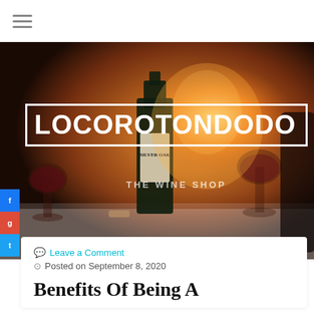☰ (hamburger menu)
[Figure (photo): Hero banner photo showing wine glasses, a bottle of Silver Oak wine, and a fireplace in the background. Overlaid with LOCOROTONDODO logo in white bold text inside a white border box, and 'THE WINE SHOP' subtitle text below.]
Leave a Comment
Posted on September 8, 2020
Benefits Of Being A